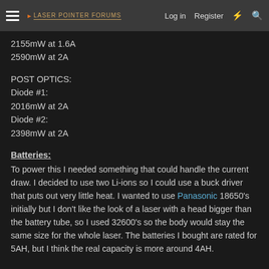Laser Pointer Forums — Log in | Register
2155mW at 1.6A
2590mW at 2A
POST OPTICS:
Diode #1:
2016mW at 2A
Diode #2:
2398mW at 2A
Batteries:
To power this I needed something that could handle the current draw. I decided to use two Li-ions so I could use a buck driver that puts out very little heat. I wanted to use Panasonic 18650's initially but I don't like the look of a laser with a head bigger than the battery tube, so I used 32600's so the body would stay the same size for the whole laser. The batteries I bought are rated for 5AH, but I think the real capacity is more around 4AH.